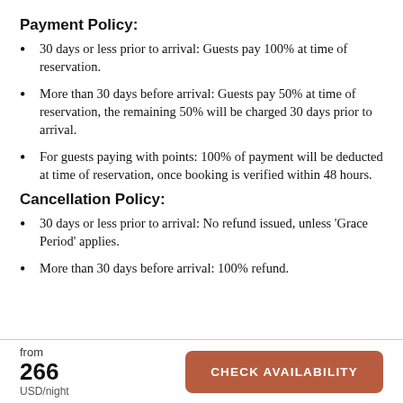Payment Policy:
30 days or less prior to arrival: Guests pay 100% at time of reservation.
More than 30 days before arrival: Guests pay 50% at time of reservation, the remaining 50% will be charged 30 days prior to arrival.
For guests paying with points: 100% of payment will be deducted at time of reservation, once booking is verified within 48 hours.
Cancellation Policy:
30 days or less prior to arrival: No refund issued, unless ‘Grace Period’ applies.
More than 30 days before arrival: 100% refund.
from
266
USD/night
CHECK AVAILABILITY